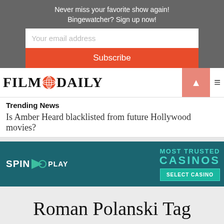Never miss your favorite show again! Bingewatcher? Sign up now!
Your email address
Subscribe
[Figure (logo): Film Daily logo with globe icon]
Trending News
Is Amber Heard blacklisted from future Hollywood movies?
[Figure (infographic): Spin Play casino advertisement banner: MOST TRUSTED CASINOS - SELECT CASINO]
Roman Polanski Tag
Archive